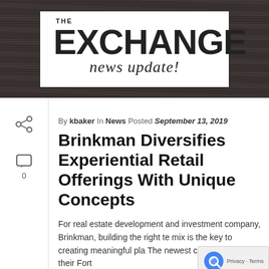[Figure (logo): The Exchange News Update logo on dark wood-grain background, white rectangle containing bold stencil-style EXCHANGE text with 'THE' above and 'news update!' in cursive script below]
By kbaker In News Posted September 13, 2019
Brinkman Diversifies Experiential Retail Offerings With Unique Concepts
For real estate development and investment company, Brinkman, building the right te mix is the key to creating meaningful pla The newest concepts to join their Fort